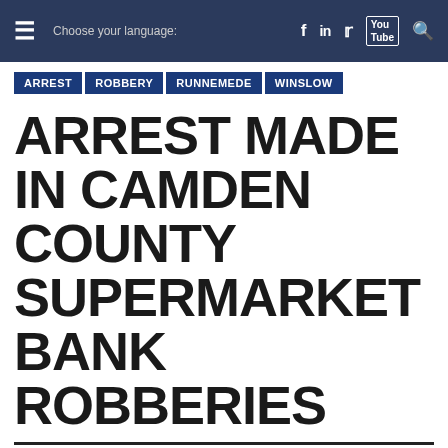Choose your language: f in [Twitter] [YouTube] [Search]
ARREST
ROBBERY
RUNNEMEDE
WINSLOW
ARREST MADE IN CAMDEN COUNTY SUPERMARKET BANK ROBBERIES
[Figure (logo): Camden County Prosecutor's Office yellow banner with blue serif text and partial circular official seal]